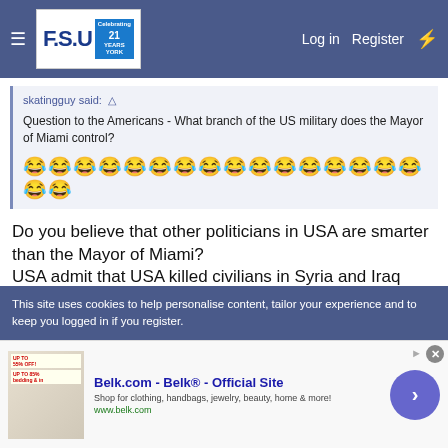FSU Forum — Log in | Register
skatingguy said: ↑

Question to the Americans - What branch of the US military does the Mayor of Miami control?

[laughing emoji row]
Do you believe that other politicians in USA are smarter than the Mayor of Miami?
USA admit that USA killed civilians in Syria and Iraq (when they bombed those countries)
This site uses cookies to help personalise content, tailor your experience and to keep you logged in if you register.
[Figure (screenshot): Advertisement for Belk.com - Belk® - Official Site. Shop for clothing, handbags, jewelry, beauty, home & more! www.belk.com. With close button and arrow CTA.]